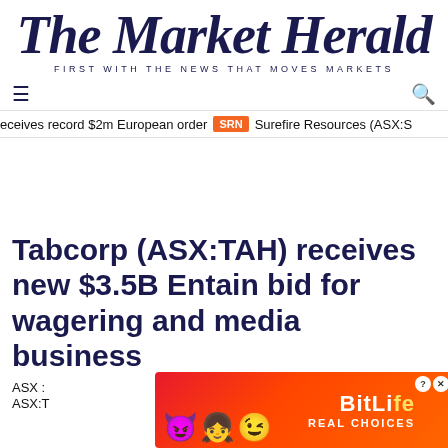The Market Herald — FIRST WITH THE NEWS THAT MOVES MARKETS
☰ (menu) and 🔍 (search) navigation
eceives record $2m European order  SRN  Surefire Resources (ASX:SN
Tabcorp (ASX:TAH) receives new $3.5B Entain bid for wagering and media business
ASX :
ASX:T
[Figure (illustration): BitLife advertisement banner with emoji characters (devil, girl with halo, winking face) on a red-orange gradient background, featuring BitLife logo and 'REAL CHOICES' text]